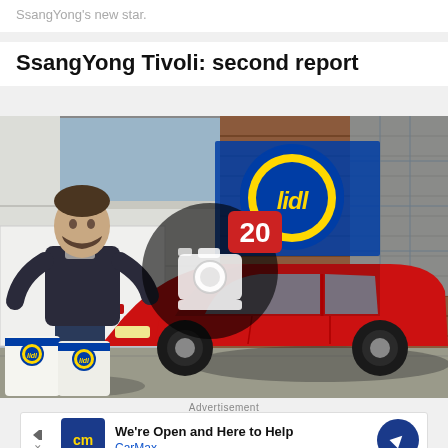SsangYong's new star.
SsangYong Tivoli: second report
[Figure (photo): A man crouches beside a red SsangYong Tivoli SUV parked in front of a Lidl store. He holds Lidl shopping bags. A camera icon with the number 20 is overlaid in the center, indicating a photo gallery.]
Advertisement
[Figure (other): CarMax advertisement banner. Shows 'cm' logo in blue, text 'We're Open and Here to Help' and 'CarMax', with a blue diamond direction icon on the right.]